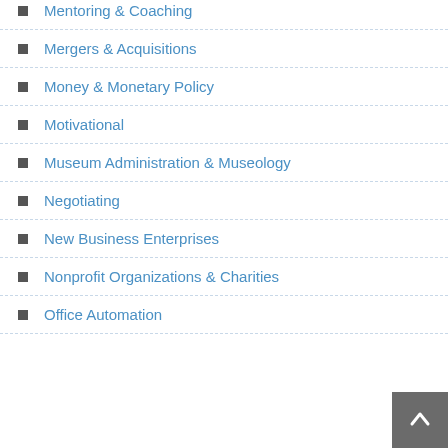Mentoring & Coaching
Mergers & Acquisitions
Money & Monetary Policy
Motivational
Museum Administration & Museology
Negotiating
New Business Enterprises
Nonprofit Organizations & Charities
Office Automation